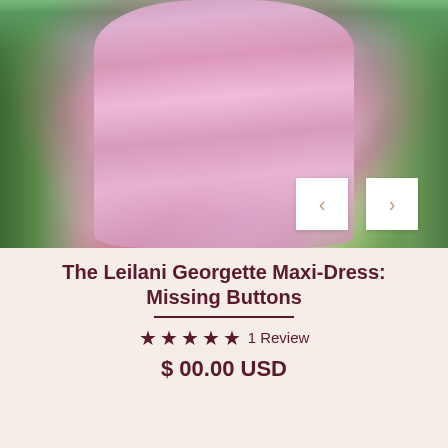[Figure (photo): Woman wearing a pink floral georgette maxi-dress with long sleeves, standing outdoors near water with greenery in background. Navigation arrows overlay bottom right.]
The Leilani Georgette Maxi-Dress: Missing Buttons
★★★★★ 1 Review
$ 00.00 USD